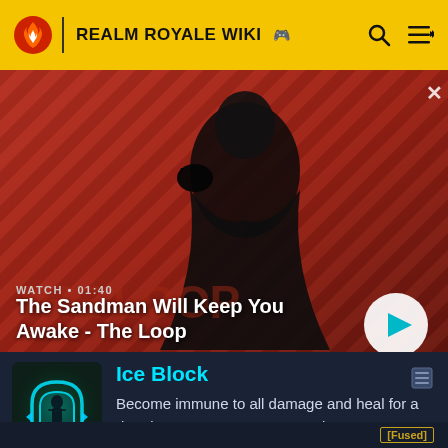REALM ROYALE WIKI
[Figure (screenshot): Video thumbnail showing a dark-cloaked figure with a raven on shoulder against red and black striped background. Title text 'THE LOOP' partially visible. Watch time 01:40 shown.]
WATCH • 01:40
The Sandman Will Keep You Awake - The Loop
[Figure (illustration): Ice Block ability icon: glowing teal/cyan igloo-like shield encasing a dark human silhouette figure on green background]
Ice Block
Become immune to all damage and heal for a duration. Cannot move or attack.
[Fused]